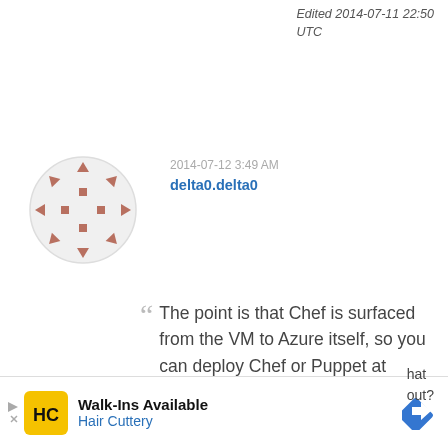Edited 2014-07-11 22:50 UTC
2014-07-12 3:49 AM
delta0.delta0
[Figure (illustration): Circular avatar icon with brownish-red dots and arrow-like shapes arranged in a circle on a light grey background]
The point is that Chef is surfaced from the VM to Azure itself, so you can deploy Chef or Puppet at provision time instead of goin into each VM to deploy.
surfaced from the vm
[Figure (other): Advertisement banner: Walk-Ins Available - Hair Cuttery, with yellow HC logo and blue navigation icon]